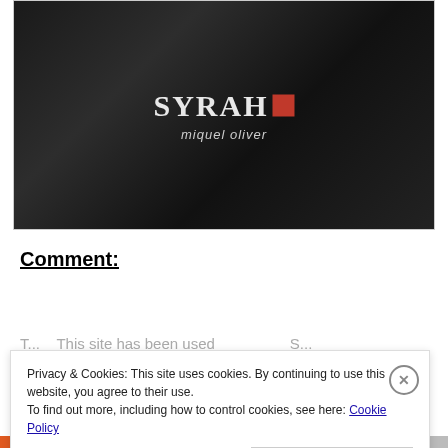[Figure (photo): Close-up photo of a dark wine bottle with label reading 'SYRAH miquel oliver' with a red square logo element]
Comment:
T... This site has been used... (partially visible text behind cookie banner)
Privacy & Cookies: This site uses cookies. By continuing to use this website, you agree to their use.
To find out more, including how to control cookies, see here: Cookie Policy
Close and accept